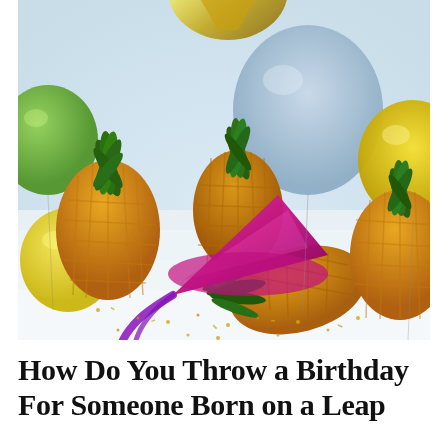[Figure (photo): A festive photo showing three pineapples surrounded by colorful balloons (yellow, green, blue) and a knocked-over pink/magenta party hat cone, with gold confetti/glitter scattered on a white surface.]
How Do You Throw a Birthday For Someone Born on a Leap